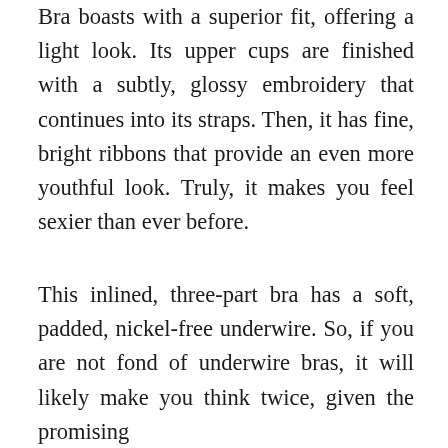Bra boasts with a superior fit, offering a light look. Its upper cups are finished with a subtly, glossy embroidery that continues into its straps. Then, it has fine, bright ribbons that provide an even more youthful look. Truly, it makes you feel sexier than ever before.
This inlined, three-part bra has a soft, padded, nickel-free underwire. So, if you are not fond of underwire bras, it will likely make you think twice, given the promising